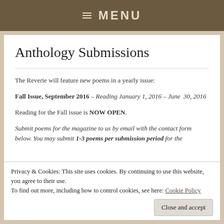MENU
Anthology Submissions
The Reverie will feature new poems in a yearly issue:
Fall Issue, September 2016 – Reading January 1, 2016 – June 30, 2016
Reading for the Fall issue is NOW OPEN.
Submit poems for the magazine to us by email with the contact form below. You may submit 1-3 poems per submission period for the magazine.
Privacy & Cookies: This site uses cookies. By continuing to use this website, you agree to their use. To find out more, including how to control cookies, see here: Cookie Policy
Close and accept